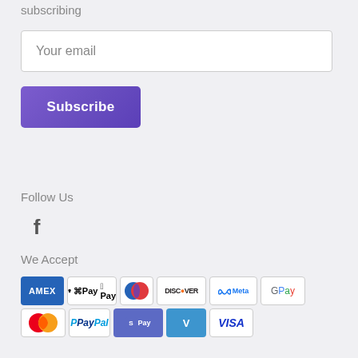subscribing
Your email
Subscribe
Follow Us
[Figure (logo): Facebook f icon]
We Accept
[Figure (infographic): Payment method icons: AMEX, Apple Pay, Diners Club, Discover, Meta Pay, Google Pay, Mastercard, PayPal, ShopifyPay, Venmo, Visa]